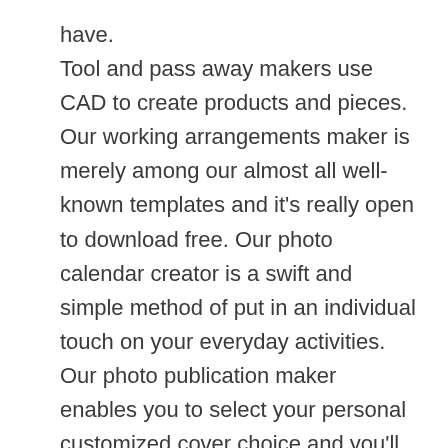have. Tool and pass away makers use CAD to create products and pieces. Our working arrangements maker is merely among our almost all well-known templates and it's really open to download free. Our photo calendar creator is a swift and simple method of put in an individual touch on your everyday activities. Our photo publication maker enables you to select your personal customized cover choice and you'll personalize each web page with different imaginative photo agreements and text to see your storyline with images. The calendar machine and calendar photos might take one minute to load.